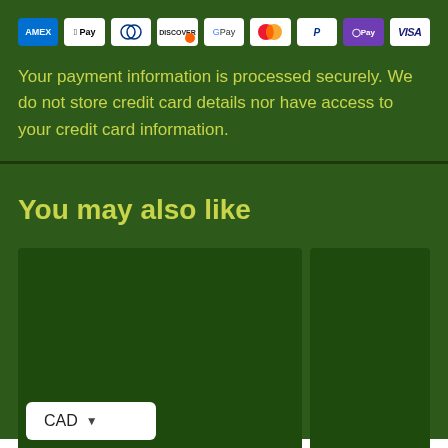[Figure (other): Row of payment method icons: AMEX, Apple Pay, Diners Club, Discover, Google Pay, Mastercard, PayPal, OPay, VISA]
Your payment information is processed securely. We do not store credit card details nor have access to your credit card information.
You may also like
[Figure (screenshot): Two product card placeholders side by side on dark green background, with a CAD currency selector dropdown in the bottom-left corner]